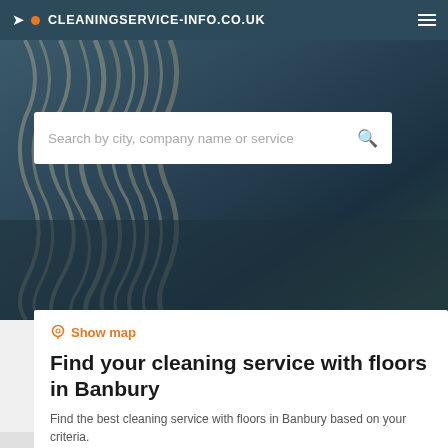CLEANINGSERVICE-INFO.CO.UK
[Figure (screenshot): Hero background image showing cleaning mop/rope texture in dark teal tones]
Search by city, company name or service
Show map
Find your cleaning service with floors in Banbury
Find the best cleaning service with floors in Banbury based on your criteria.
Filters
Coventry